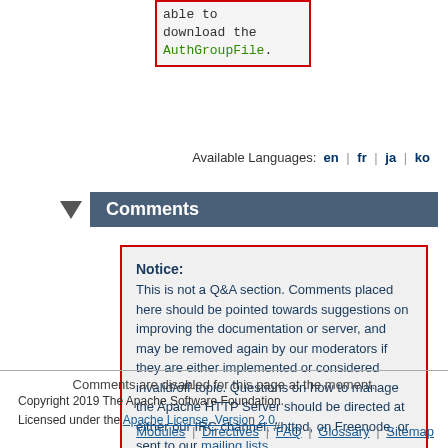[Figure (screenshot): Code snippet box with red border showing text 'able to download the AuthGroupFile.' with AuthGroupFile in green monospace font]
Available Languages:  en  |  fr  |  ja  |  ko
Comments
Notice:
This is not a Q&A section. Comments placed here should be pointed towards suggestions on improving the documentation or server, and may be removed again by our moderators if they are either implemented or considered invalid/off-topic. Questions on how to manage the Apache HTTP Server should be directed at either our IRC channel, #httpd, on Freenode, or sent to our mailing lists.
Comments are disabled for this page at the moment.
Copyright 2019 The Apache Software Foundation.
Licensed under the Apache License, Version 2.0.
Modules | Directives | FAQ | Glossary | Sitemap